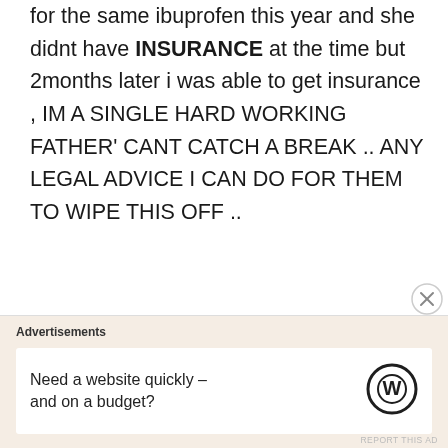for the same ibuprofen this year and she didnt have INSURANCE at the time but 2months later i was able to get insurance , IM A SINGLE HARD WORKING FATHER' CANT CATCH A BREAK .. ANY LEGAL ADVICE I CAN DO FOR THEM TO WIPE THIS OFF ..
Ed says:
August 26, 2020 at 12:08 am
This is exactly what I was looking
Advertisements
Need a website quickly – and on a budget?